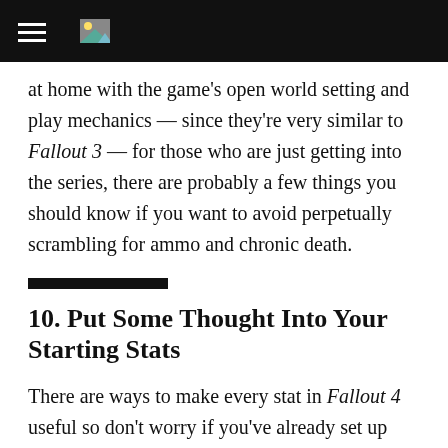[navigation bar with hamburger menu and icon]
at home with the game's open world setting and play mechanics — since they're very similar to Fallout 3 — for those who are just getting into the series, there are probably a few things you should know if you want to avoid perpetually scrambling for ammo and chronic death.
10. Put Some Thought Into Your Starting Stats
There are ways to make every stat in Fallout 4 useful so don't worry if you've already set up your starting attributes. But, if you want to make your early game